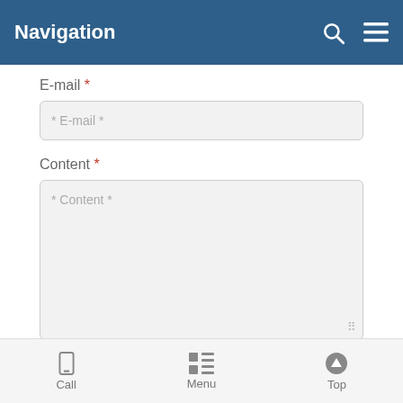Navigation
E-mail *
* E-mail *
Content *
* Content *
Code *
Call   Menu   Top